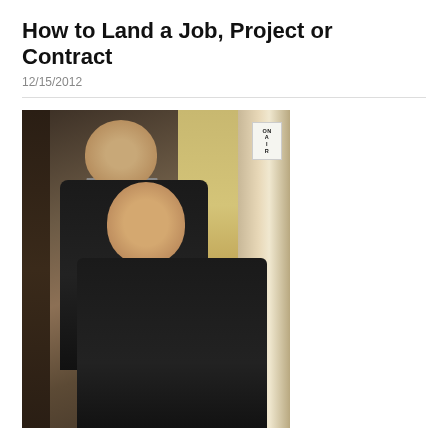How to Land a Job, Project or Contract
12/15/2012
[Figure (photo): Two people posing together indoors. A taller bald man in a black puffer jacket and gray hoodie stands behind a woman with long dark hair wearing a black jacket with a blue v-neck sweater and white collared shirt. An 'ON AIR' sign is visible in the background doorway.]